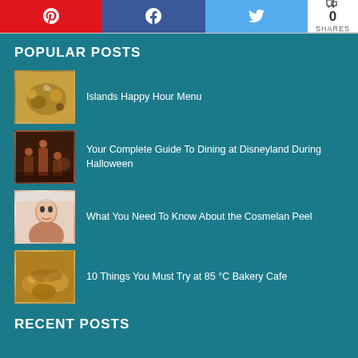Pinterest share | Facebook share | Twitter share | 0 SHARES
POPULAR POSTS
Islands Happy Hour Menu
Your Complete Guide To Dining at Disneyland During Halloween
What You Need To Know About the Cosmelan Peel
10 Things You Must Try at 85 °C Bakery Cafe
RECENT POSTS